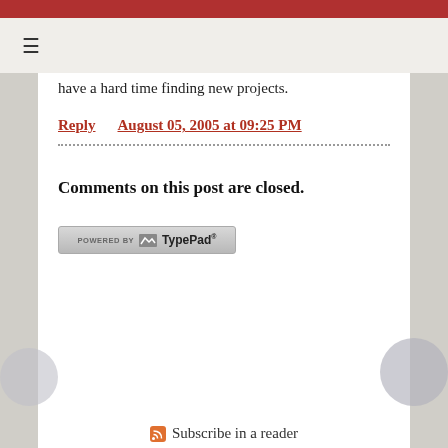≡
have a hard time finding new projects.
Reply   August 05, 2005 at 09:25 PM
Comments on this post are closed.
[Figure (logo): Powered by TypePad badge]
Subscribe in a reader